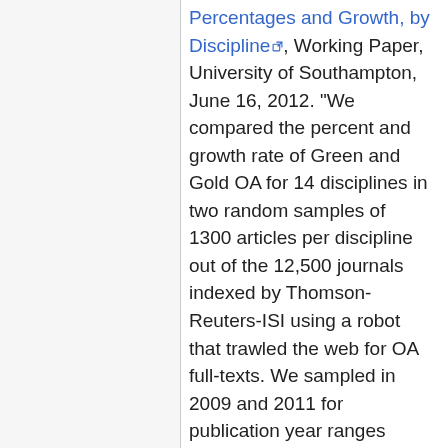Percentages and Growth, by Discipline [external link], Working Paper, University of Southampton, June 16, 2012. "We compared the percent and growth rate of Green and Gold OA for 14 disciplines in two random samples of 1300 articles per discipline out of the 12,500 journals indexed by Thomson-Reuters-ISI using a robot that trawled the web for OA full-texts. We sampled in 2009 and 2011 for publication year ranges 1998-2006 and 2005-2010, respectively. Green OA (21.4%) exceeds Gold OA (2.4%) in proportion and growth rate in all but the biomedical disciplines....The spontaneous overall OA growth rate is still very